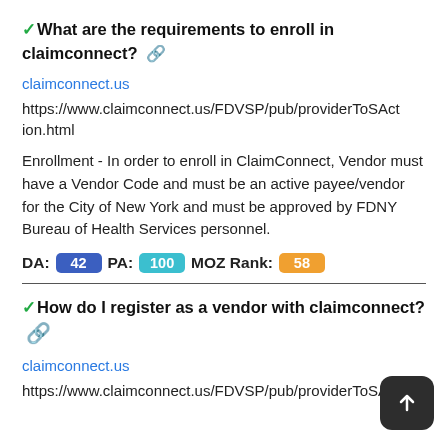✓What are the requirements to enroll in claimconnect? 🔗
claimconnect.us
https://www.claimconnect.us/FDVSP/pub/providerToSAction.html
Enrollment - In order to enroll in ClaimConnect, Vendor must have a Vendor Code and must be an active payee/vendor for the City of New York and must be approved by FDNY Bureau of Health Services personnel.
DA: 42  PA: 100  MOZ Rank: 58
✓How do I register as a vendor with claimconnect? 🔗
claimconnect.us
https://www.claimconnect.us/FDVSP/pub/providerToSAct